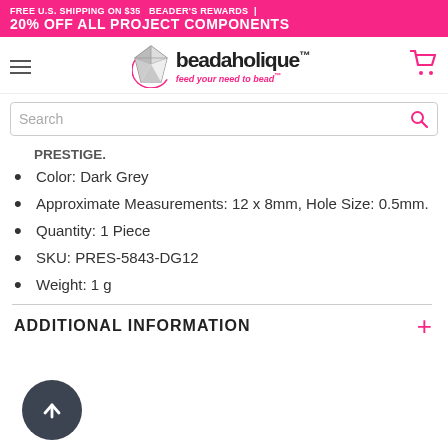FREE U.S. SHIPPING ON $35  BEADER'S REWARDS | 20% OFF ALL PROJECT COMPONENTS
[Figure (logo): Beadaholique logo with diamond gem icon and tagline 'feed your need to bead']
Search
PRESTIGE.
Color: Dark Grey
Approximate Measurements: 12 x 8mm, Hole Size: 0.5mm.
Quantity: 1 Piece
SKU: PRES-5843-DG12
Weight: 1 g
ADDITIONAL INFORMATION